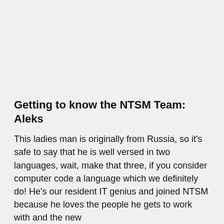Getting to know the NTSM Team: Aleks
This ladies man is originally from Russia, so it's safe to say that he is well versed in two languages, wait, make that three, if you consider computer code a language which we definitely do! He's our resident IT genius and joined NTSM because he loves the people he gets to work with and the new